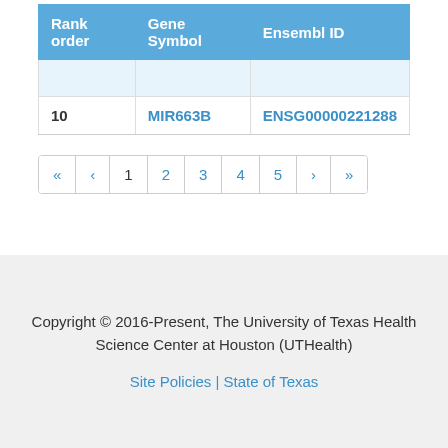| Rank order | Gene Symbol | Ensembl ID |
| --- | --- | --- |
|  |  |  |
| 10 | MIR663B | ENSG00000221288 |
« ‹ 1 2 3 4 5 › »
Copyright © 2016-Present, The University of Texas Health Science Center at Houston (UTHealth)
Site Policies | State of Texas